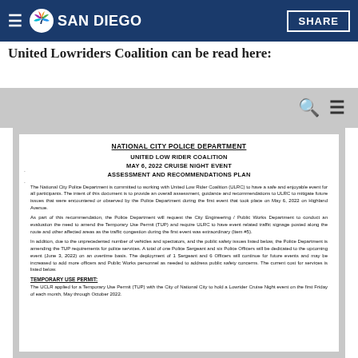A copy of the National City Police Department's letter to United Lowriders Coalition can be read here:
[Figure (logo): NBC 7 San Diego logo on dark blue navigation bar with hamburger menu icon on left and SHARE button on right]
A copy of the National City Police Department's letter to United Lowriders Coalition can be read here:
[Figure (screenshot): Gray navigation bar with search icon and hamburger menu icon]
[Figure (screenshot): Scanned document page showing National City Police Department letter]
NATIONAL CITY POLICE DEPARTMENT
UNITED LOW RIDER COALITION
MAY 6, 2022 CRUISE NIGHT EVENT
ASSESSMENT AND RECOMMENDATIONS PLAN
The National City Police Department is committed to working with United Low Rider Coalition (ULRC) to have a safe and enjoyable event for all participants. The intent of this document is to provide an overall assessment, guidance and recommendations to ULRC to mitigate future issues that were encountered or observed by the Police Department during the first event that took place on May 6, 2022 on Highland Avenue.
As part of this recommendation, the Police Department will request the City Engineering / Public Works Department to conduct an evaluation the need to amend the Temporary Use Permit (TUP) and require ULRC to have event related traffic signage posted along the route and other affected areas as the traffic congestion during the first event was extraordinary (Item #5).
In addition, due to the unprecedented number of vehicles and spectators, and the public safety issues listed below, the Police Department is amending the TUP requirements for police services. A total of one Police Sergeant and six Police Officers will be dedicated to the upcoming event (June 3, 2022) on an overtime basis. The deployment of 1 Sergeant and 6 Officers will continue for future events and may be increased to add more officers and Public Works personnel as needed to address public safety concerns. The current cost for services is listed below.
TEMPORARY USE PERMIT:
The UCLR applied for a Temporary Use Permit (TUP) with the City of National City to hold a Lowrider Cruise Night event on the first Friday of each month, May through October 2022.